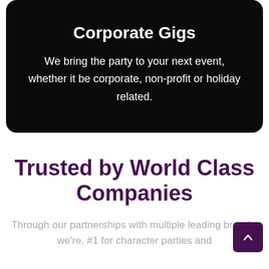Corporate Gigs
We bring the party to your next event, whether it be corporate, non-profit or holiday related.
Trusted by World Class Companies
Through our partnerships with multiple leading brands, we're, #1 for character parties and